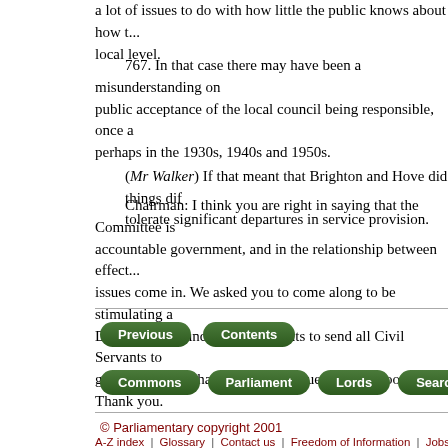a lot of issues to do with how little the public knows about how things work at local level.
767. In that case there may have been a misunderstanding on public acceptance of the local council being responsible, once a perhaps in the 1930s, 1940s and 1950s. (Mr Walker) If that meant that Brighton and Hove did things differently, tolerate significant departures in service provision.
Chairman: I think you are right in saying that the Committee is accountable government, and in the relationship between effect issues come in. We asked you to come along to be stimulating and Dunleavy, as I understand it, wants to send all Civil Servants to government. We have had good value this afternoon. Thank you.
[Figure (other): Navigation buttons: Previous, Contents (row 1); Commons, Parliament, Lords, Search, E... (row 2, partially cut off)]
© Parliamentary copyright 2001
A-Z index | Glossary | Contact us | Freedom of Information | Jobs | Using this w...